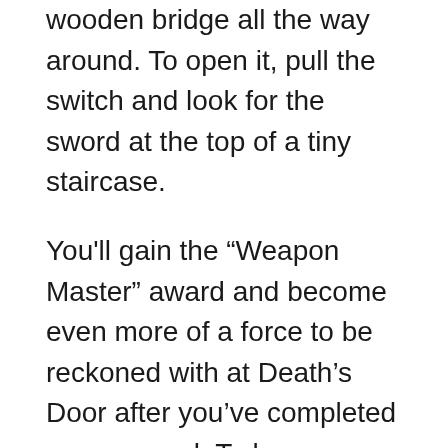wooden bridge all the way around. To open it, pull the switch and look for the sword at the top of a tiny staircase.
You'll gain the “Weapon Master” award and become even more of a force to be reckoned with at Death’s Door after you’ve completed your arsenal. To become really unstoppable on your quest, focus on improving those talents as well as maxing out your health and magic.
This idea was sparked by the recent video that posted on Reddit and YouTube, showing all the weapon locations you can get in Call of Duty: